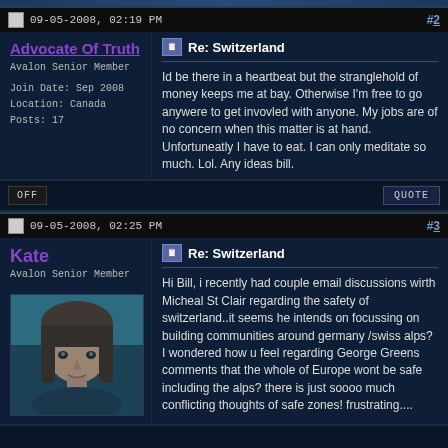09-05-2008, 02:19 PM  #2
Advocate Of Truth
Avalon Senior Member
Join Date: Sep 2008
Location: Canada
Posts: 17
Re: Switzerland
Id be there in a heartbeat but the stranglehold of money keeps me at bay. Otherwise I'm free to go anywere to get invovled with anyone. My jobs are of no concern when this matter is at hand. Unfortuneatly I have to eat. I can only meditate so much. Lol. Any ideas bill.
09-05-2008, 02:25 PM  #3
Kate
Avalon Senior Member
[Figure (photo): Profile photo of a woman with dark brown hair and bangs, teal/blue toned image]
Re: Switzerland
Hi Bill, i recently had couple email discussions wirth Micheal St Clair regarding the safety of switzerland..it seems he intends on focussing on building communities around germany /swiss alps? I wondered how u feel regarding George Greens comments that the whole of Europe wont be safe including the alps? there is just soooo much conflicting thoughts of safe zones! frustrating....